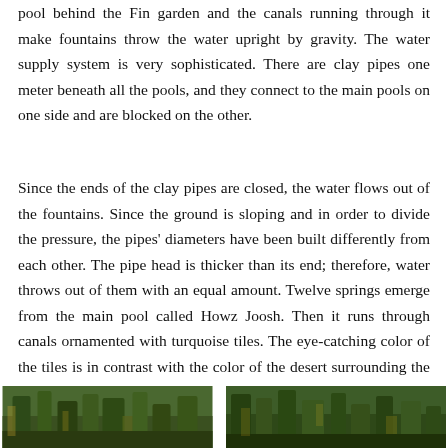pool behind the Fin garden and the canals running through it make fountains throw the water upright by gravity. The water supply system is very sophisticated. There are clay pipes one meter beneath all the pools, and they connect to the main pools on one side and are blocked on the other.
Since the ends of the clay pipes are closed, the water flows out of the fountains. Since the ground is sloping and in order to divide the pressure, the pipes' diameters have been built differently from each other. The pipe head is thicker than its end; therefore, water throws out of them with an equal amount. Twelve springs emerge from the main pool called Howz Joosh. Then it runs through canals ornamented with turquoise tiles. The eye-catching color of the tiles is in contrast with the color of the desert surrounding the garden.
[Figure (photo): Two photographs side by side showing garden vegetation with trees and greenery]